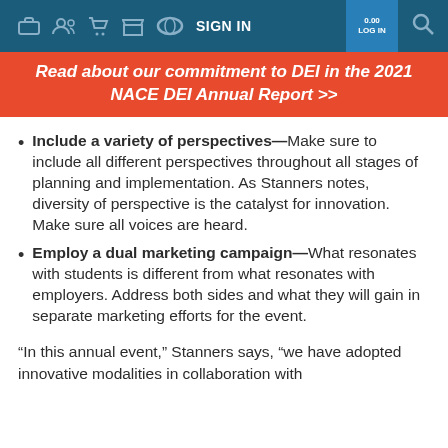SIGN IN
Read about our commitment to DEI in the 2021 NACE DEI Annual Report >>
Include a variety of perspectives—Make sure to include all different perspectives throughout all stages of planning and implementation. As Stanners notes, diversity of perspective is the catalyst for innovation. Make sure all voices are heard.
Employ a dual marketing campaign—What resonates with students is different from what resonates with employers. Address both sides and what they will gain in separate marketing efforts for the event.
“In this annual event,” Stanners says, “we have adopted innovative modalities in collaboration with